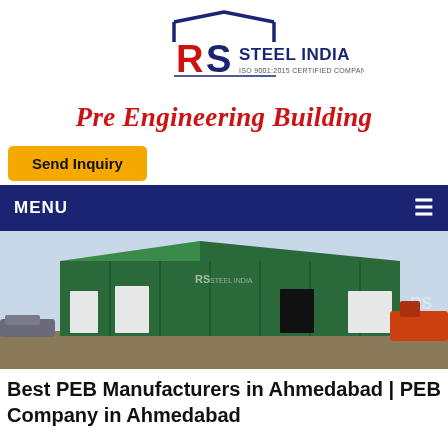[Figure (logo): RS Steel India logo with house/roof shape above, bold RS letters in red and dark blue, 'STEEL INDIA' text in dark blue, 'ISO 9001:2015 CERTIFIED COMPANY' subtitle]
Pre Engineering Building
Send Inquiry
MENU
[Figure (photo): Exterior photograph of a large green pre-engineered metal building with RS Steel India logo, garage doors, parked vehicles and construction equipment outside]
Best PEB Manufacturers in Ahmedabad | PEB Company in Ahmedabad